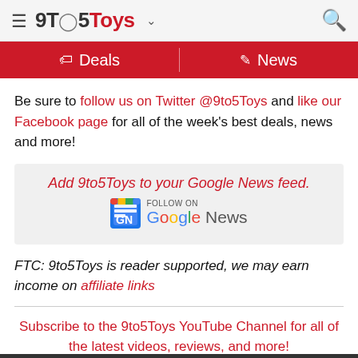9to5Toys
Be sure to follow us on Twitter @9to5Toys and like our Facebook page for all of the week's best deals, news and more!
[Figure (other): Google News follow badge with text: Add 9to5Toys to your Google News feed. FOLLOW ON Google News]
FTC: 9to5Toys is reader supported, we may earn income on affiliate links
Subscribe to the 9to5Toys YouTube Channel for all of the latest videos, reviews, and more!